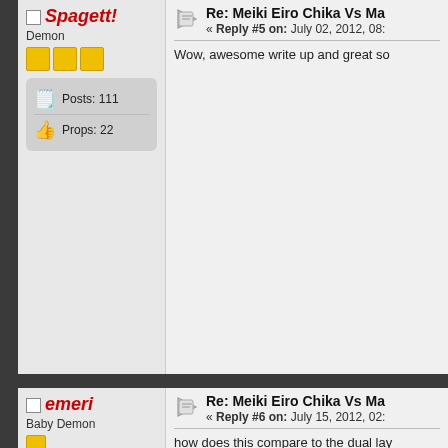Spagett!
Demon
Posts: 111
Props: 22
Re: Meiki Eiro Chika Vs Ma
« Reply #5 on: July 02, 2012, 08:
Wow, awesome write up and great so
emeri
Baby Demon
Posts: 32
Props: 4
Re: Meiki Eiro Chika Vs Ma
« Reply #6 on: July 15, 2012, 02:
how does this compare to the dual lay